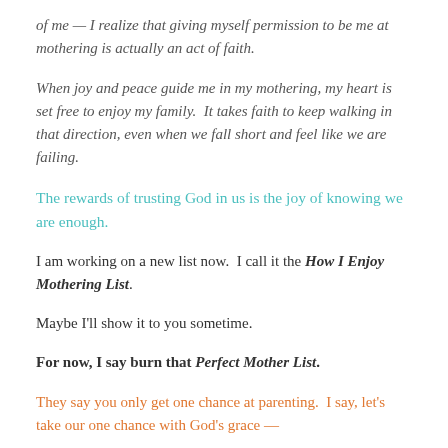of me — I realize that giving myself permission to be me at mothering is actually an act of faith.
When joy and peace guide me in my mothering, my heart is set free to enjoy my family.  It takes faith to keep walking in that direction, even when we fall short and feel like we are failing.
The rewards of trusting God in us is the joy of knowing we are enough.
I am working on a new list now.  I call it the How I Enjoy Mothering List.
Maybe I'll show it to you sometime.
For now, I say burn that Perfect Mother List.
They say you only get one chance at parenting.  I say, let's take our one chance with God's grace —